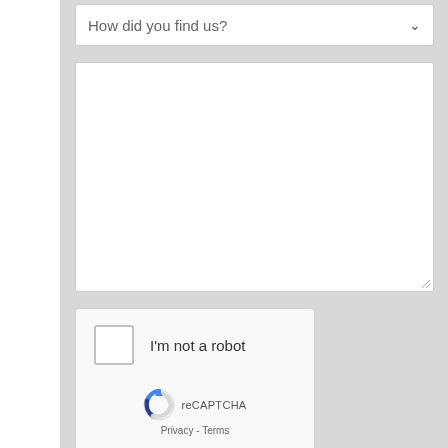[Figure (screenshot): Dropdown form field labeled 'How did you find us?' with a chevron/arrow icon on the right]
[Figure (screenshot): Large empty white textarea input field for multi-line text entry, with a resize handle at the bottom-right corner]
[Figure (screenshot): reCAPTCHA widget box with an unchecked checkbox, 'I'm not a robot' text, the reCAPTCHA logo, and 'Privacy - Terms' links]